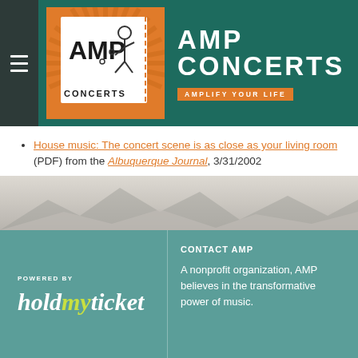[Figure (logo): AMP Concerts logo with a stick figure musician and sunburst background, text reads CONCERTS at bottom]
AMP CONCERTS
AMPLIFY YOUR LIFE
House music: The concert scene is as close as your living room (PDF) from the Albuquerque Journal, 3/31/2002
House concerts open the door to a unique concert experience (PDF) from abqARTS, March 2002
[Figure (photo): Rocky mountain landscape background image]
POWERED BY
[Figure (logo): holdmyticket logo in stylized italic script]
CONTACT AMP
A nonprofit organization, AMP believes in the transformative power of music.